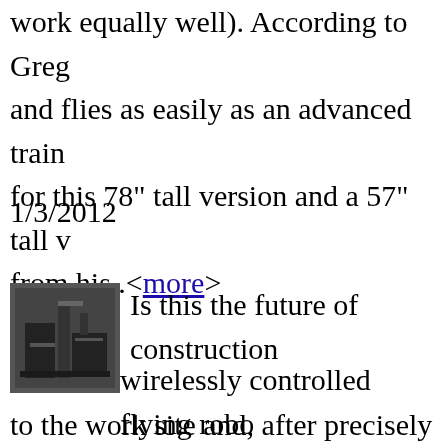work equally well). According to Greg and flies as easily as an advanced train for this 78" tall version and a 57" tall v from his..<more>
1/3/2012
[Figure (photo): Small black and white thumbnail photo of construction machinery or robotic equipment]
Is this the future of construction wirelessly controlled flying robo to the work site and, after precisely po